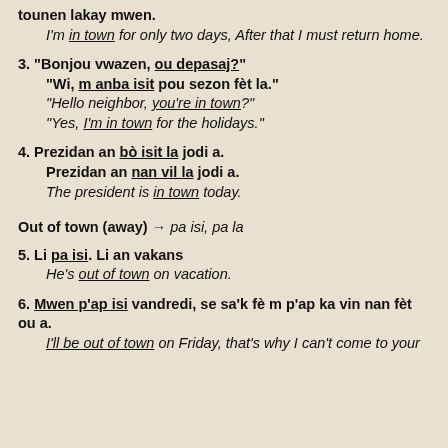tounen lakay mwen.
I'm in town for only two days, After that I must return home.
3. "Bonjou vwazen, ou depasaj?" "Wi, m anba isit pou sezon fèt la." "Hello neighbor, you're in town?" "Yes, I'm in town for the holidays."
4. Prezidan an bò isit la jodi a. Prezidan an nan vil la jodi a. The president is in town today.
Out of town (away) → pa isi, pa la
5. Li pa isi. Li an vakans He's out of town on vacation.
6. Mwen p'ap isi vandredi, se sa'k fè m p'ap ka vin nan fèt ou a. I'll be out of town on Friday, that's why I can't come to your